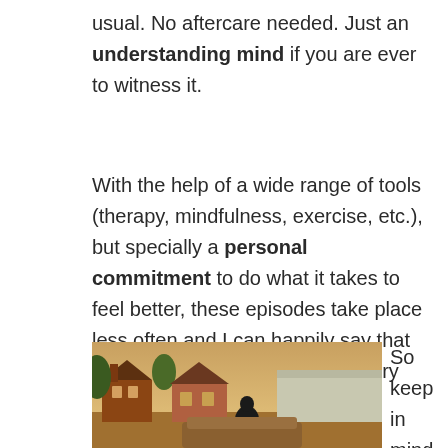usual. No aftercare needed. Just an understanding mind if you are ever to witness it.
With the help of a wide range of tools (therapy, mindfulness, exercise, etc.), but specially a personal commitment to do what it takes to feel better, these episodes take place less often and I can happily say that they are more manageable every time.
[Figure (photo): Warm-toned outdoor photograph showing a person viewed from behind, with residential houses and trees in the background, taken in golden/amber light.]
So keep in mind that